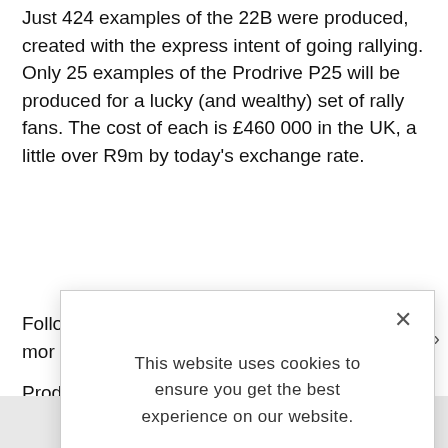Just 424 examples of the 22B were produced, created with the express intent of going rallying. Only 25 examples of the Prodrive P25 will be produced for a lucky (and wealthy) set of rally fans. The cost of each is £460 000 in the UK, a little over R9m by today's exchange rate.
Follo... mor...
Prod... That... with... origi... new... pow...
[Figure (screenshot): Cookie consent modal dialog with close button (×), text 'This website uses cookies to ensure you get the best experience on our website.', bold link 'LEARN MORE.', and a light blue 'ACCEPT COOKIES' button.]